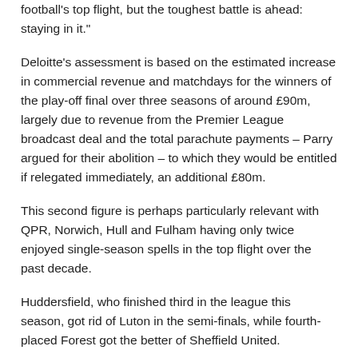football’s top flight, but the toughest battle is ahead: staying in it.”
Deloitte’s assessment is based on the estimated increase in commercial revenue and matchdays for the winners of the play-off final over three seasons of around £90m, largely due to revenue from the Premier League broadcast deal and the total parachute payments – Parry argued for their abolition – to which they would be entitled if relegated immediately, an additional £80m.
This second figure is perhaps particularly relevant with QPR, Norwich, Hull and Fulham having only twice enjoyed single-season spells in the top flight over the past decade.
Huddersfield, who finished third in the league this season, got rid of Luton in the semi-finals, while fourth-placed Forest got the better of Sheffield United.
Related Posts: